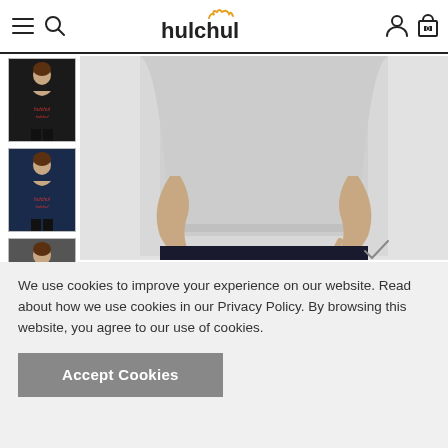hulchul - navigation header with hamburger menu, search, logo, account, and cart icons
[Figure (photo): Thumbnail: woman wearing black t-shirt with hulchul logo]
[Figure (photo): Thumbnail: woman wearing navy t-shirt with hulchul logo]
[Figure (photo): Thumbnail: woman wearing dark grey t-shirt with hulchul logo]
[Figure (photo): Thumbnail: woman wearing light grey t-shirt]
[Figure (photo): Main product image: woman wearing light grey heather t-shirt, cropped view of torso and hands]
[Figure (photo): Secondary product image: woman smiling wearing white t-shirt, cropped face and shoulders]
We use cookies to improve your experience on our website. Read about how we use cookies in our Privacy Policy. By browsing this website, you agree to our use of cookies.
Accept Cookies